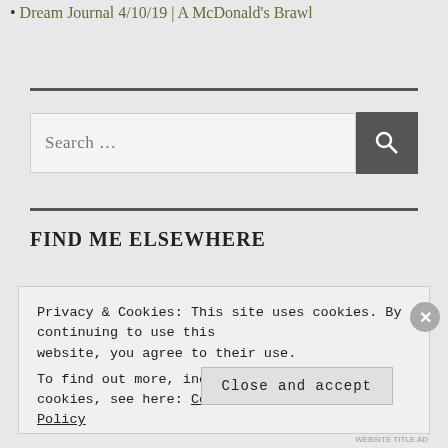Dream Journal 4/10/19 | A McDonald's Brawl
Search ...
FIND ME ELSEWHERE
Privacy & Cookies: This site uses cookies. By continuing to use this website, you agree to their use.
To find out more, including how to control cookies, see here: Cookie Policy
Close and accept
WEBSITE TITLE AD